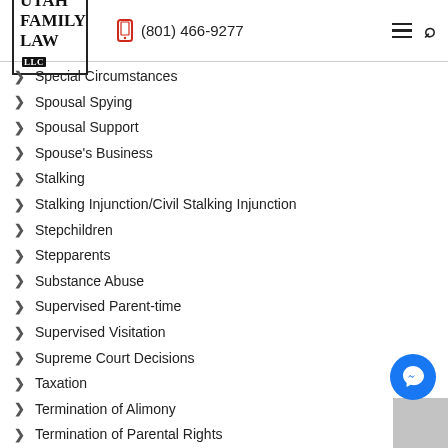Utah Family Law LLC | (801) 466-9277
Special Circumstances
Spousal Spying
Spousal Support
Spouse's Business
Stalking
Stalking Injunction/Civil Stalking Injunction
Stepchildren
Stepparents
Substance Abuse
Supervised Parent-time
Supervised Visitation
Supreme Court Decisions
Taxation
Termination of Alimony
Termination of Parental Rights